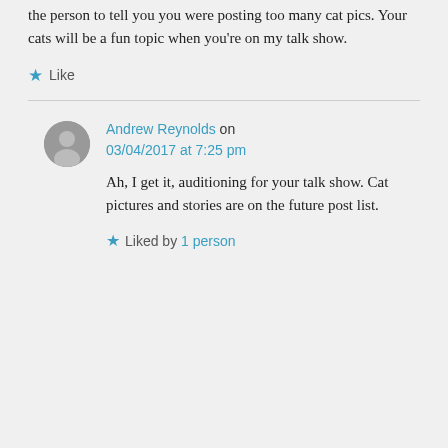the person to tell you you were posting too many cat pics. Your cats will be a fun topic when you're on my talk show.
Like
Andrew Reynolds on 03/04/2017 at 7:25 pm
Ah, I get it, auditioning for your talk show. Cat pictures and stories are on the future post list.
Liked by 1 person